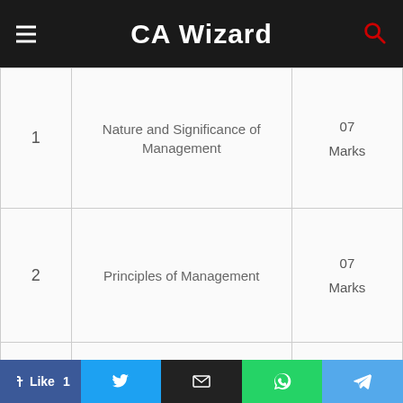CA Wizard
| # | Topic | Marks |
| --- | --- | --- |
| 1 | Nature and Significance of Management | 07 Marks |
| 2 | Principles of Management | 07 Marks |
| 3 | Business Environment | 05 Marks |
| 4 | Planning | 07 Marks |